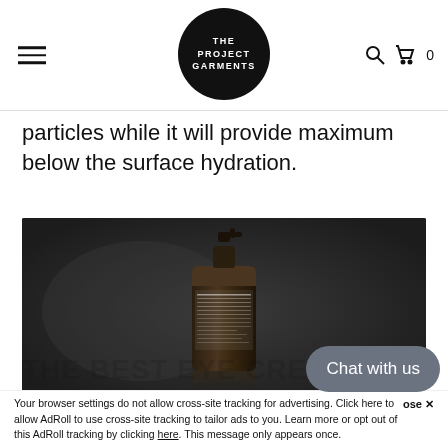THE PROJECT GARMENTS — navigation header with logo, hamburger menu, search and cart icons
particles while it will provide maximum below the surface hydration.
[Figure (photo): A dark amber/brown pump bottle product shot on a very dark background with reflection underneath. The bottle has a white label.]
THE BEST EYE CREAM
Chat with us
Your browser settings do not allow cross-site tracking for advertising. Click here to allow AdRoll to use cross-site tracking to tailor ads to you. Learn more or opt out of this AdRoll tracking by clicking here. This message only appears once.
ose ✕